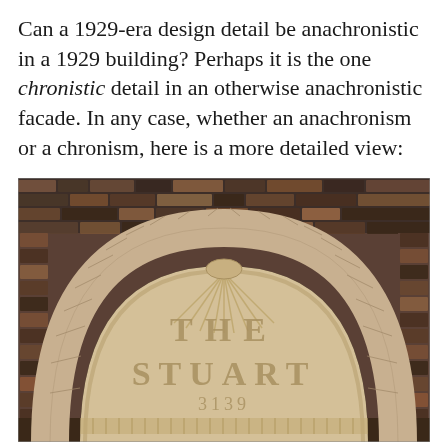Can a 1929-era design detail be anachronistic in a 1929 building? Perhaps it is the one chronistic detail in an otherwise anachronistic facade. In any case, whether an anachronism or a chronism, here is a more detailed view:
[Figure (photo): Close-up photograph of a stone archway entrance to a building called 'The Stuart', address 3139. The arch features decorative carved stonework with radiating fan detail at the keystone. The tympanum contains carved lettering reading 'THE STUART' and '3139' in Art Deco style. The surrounding facade shows patterned brick in dark and multi-colored tones.]